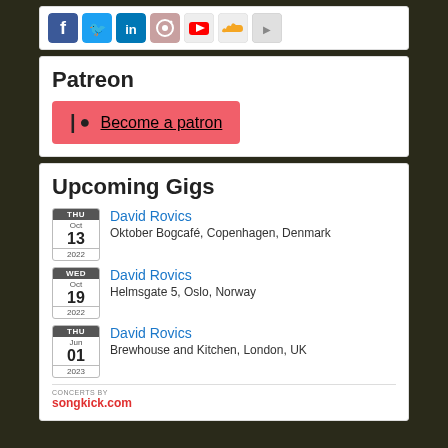[Figure (other): Social media icon bar with Facebook, Twitter, LinkedIn, Instagram, YouTube, SoundCloud, and another icon]
Patreon
[Figure (other): Patreon button: red background with pipe-dot icon and underlined text 'Become a patron']
Upcoming Gigs
THU Oct 13 2022 - David Rovics - Oktober Bogcafé, Copenhagen, Denmark
WED Oct 19 2022 - David Rovics - Helmsgate 5, Oslo, Norway
THU Jun 01 2023 - David Rovics - Brewhouse and Kitchen, London, UK
CONCERTS BY songkick.com